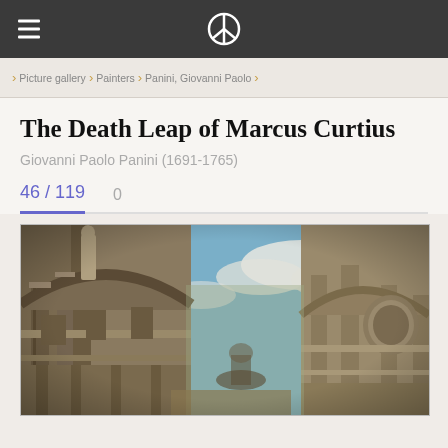Navigation bar with hamburger menu and peace symbol logo
Picture gallery > Painters > Panini, Giovanni Paolo >
The Death Leap of Marcus Curtius
Giovanni Paolo Panini (1691-1765)
46 / 119   0
[Figure (photo): Partial view of a painting by Giovanni Paolo Panini showing classical architectural ruins with columns and arches under a partly cloudy sky, with a statue visible on the left side.]